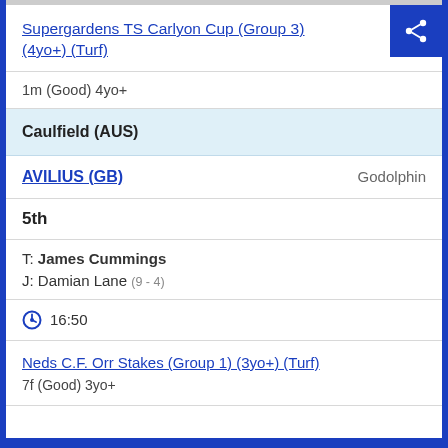Supergardens TS Carlyon Cup (Group 3) (4yo+) (Turf)
1m (Good) 4yo+
Caulfield (AUS)
AVILIUS (GB)   Godolphin
5th
T: James Cummings
J: Damian Lane (9 - 4)
16:50
Neds C.F. Orr Stakes (Group 1) (3yo+) (Turf)
7f (Good) 3yo+